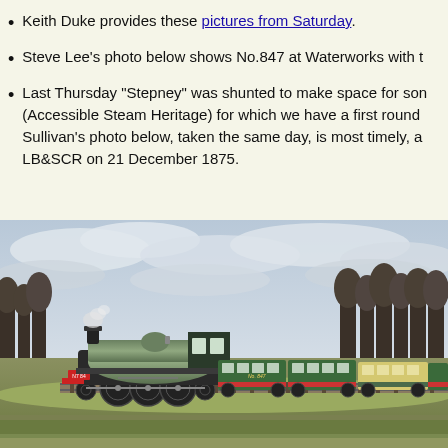Keith Duke provides these pictures from Saturday.
Steve Lee's photo below shows No.847 at Waterworks with t
Last Thursday "Stepney" was shunted to make space for son (Accessible Steam Heritage) for which we have a first round Sullivan's photo below, taken the same day, is most timely, a LB&SCR on 21 December 1875.
[Figure (photo): A steam locomotive (green livery with red trim, numbered 847) pulling green passenger coaches along a railway line through countryside, with bare winter trees in the background and overcast sky.]